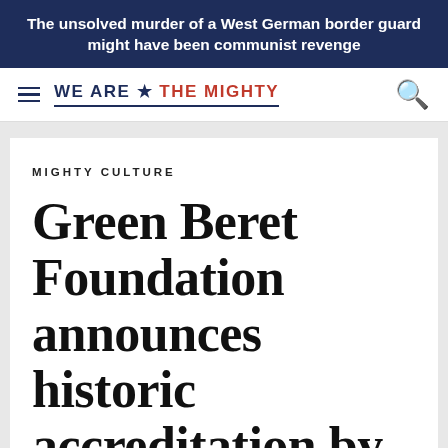The unsolved murder of a West German border guard might have been communist revenge
[Figure (logo): We Are The Mighty website logo with hamburger menu and search icon]
MIGHTY CULTURE
Green Beret Foundation announces historic accreditation by